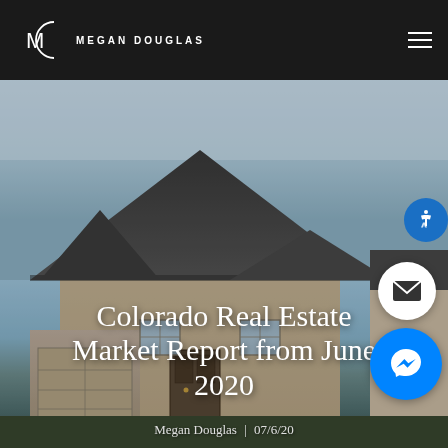Megan Douglas
[Figure (photo): Exterior photo of a brick suburban home with a dark shingled roof, clear blue sky background. Used as hero image on a real estate blog page.]
Colorado Real Estate Market Report from June 2020
Megan Douglas | 07/6/20